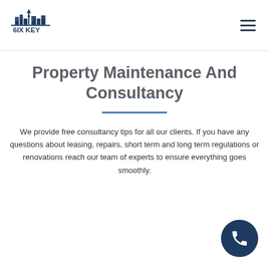[Figure (logo): 6IX KEY company logo with city skyline silhouette above text '6IX KEY']
Property Maintenance And Consultancy
We provide free consultancy tips for all our clients. If you have any questions about leasing, repairs, short term and long term regulations or renovations reach our team of experts to ensure everything goes smoothly.
[Figure (other): Circular dark blue phone call button icon in bottom right corner]